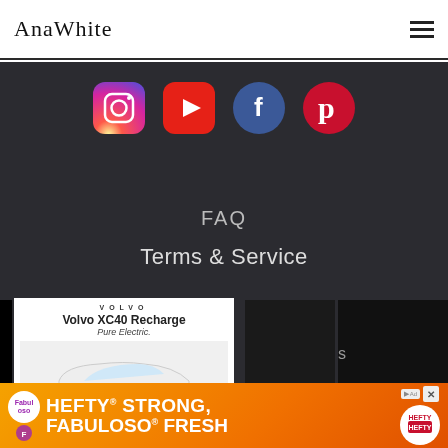AnaWhite
[Figure (logo): Social media icons row: Instagram, YouTube, Facebook, Pinterest]
FAQ
Terms & Service
[Figure (screenshot): Volvo XC40 Recharge Pure Electric advertisement overlay]
.com. All Rights Reserved
rms of Service
[Figure (screenshot): Hefty Strong, Fabuloso Fresh banner advertisement at bottom of page]